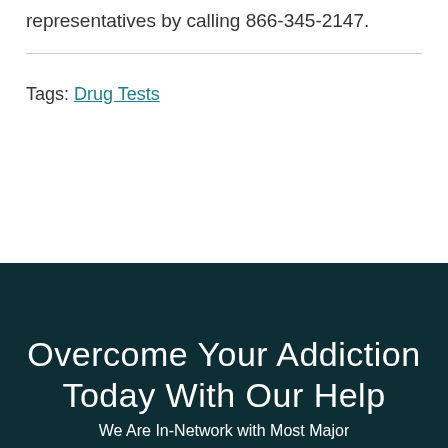of substance abuse treatment representatives by calling 866-345-2147.
Tags: Drug Tests
Overcome Your Addiction Today With Our Help
We Are In-Network with Most Major